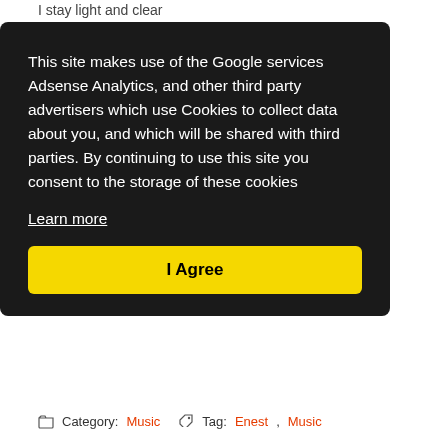I stay light and clear
This site makes use of the Google services Adsense Analytics, and other third party advertisers which use Cookies to collect data about you, and which will be shared with third parties. By continuing to use this site you consent to the storage of these cookies
Learn more
I Agree
Category: Music   Tag: Enest, Music